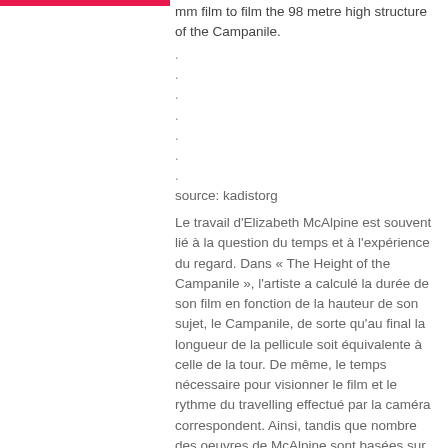mm film to film the 98 metre high structure of the Campanile.
. . . . . . .
source: kadistorg
Le travail d'Elizabeth McAlpine est souvent lié à la question du temps et à l'expérience du regard. Dans « The Height of the Campanile », l'artiste a calculé la durée de son film en fonction de la hauteur de son sujet, le Campanile, de sorte qu'au final la longueur de la pellicule soit équivalente à celle de la tour. De même, le temps nécessaire pour visionner le film et le rythme du travelling effectué par la caméra correspondent. Ainsi, tandis que nombre des oeuvres de McAlpine sont basées sur le montage, la répétition et la fragmentation, « 98m » se présente comme un simple plan-séquence.
L'image, au grain apparent, est projetée au mur à la taille d'une carte postale, pendant que le film forme